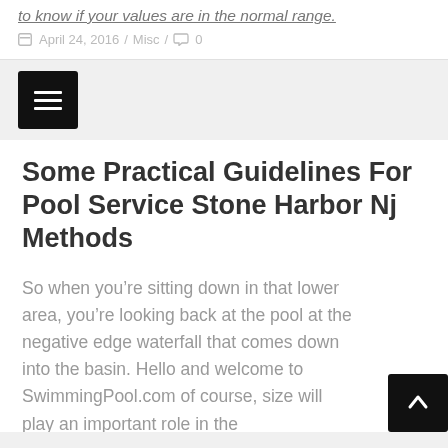to know if your values are in the normal range.
April 24, 2016  /  Misc  /  0
[Figure (other): Dark square menu/hamburger icon button]
Some Practical Guidelines For Pool Service Stone Harbor Nj Methods
So when you're sitting down in that lower area, you're looking back at the pool at the negative edge waterfall that comes down into the basin. Hello and welcome to SwimmingPool.com of course, size will play an important role in the
[Figure (other): Dark square back-to-top arrow button in bottom right corner]